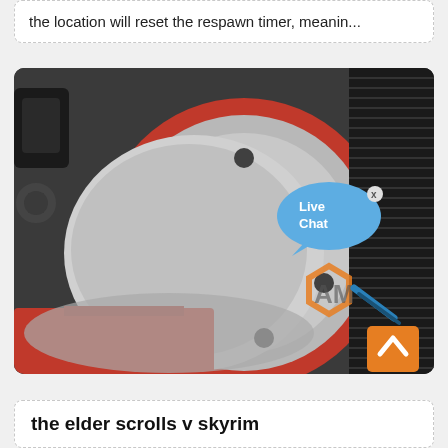the location will reset the respawn timer, meanin...
[Figure (photo): Close-up photograph of a large industrial red and silver wheel/pulley mechanism with black ribbed belt, a live chat bubble overlay reading 'Live Chat', an orange hexagonal logo watermark, and an orange scroll-to-top button in the bottom right corner.]
the elder scrolls v skyrim